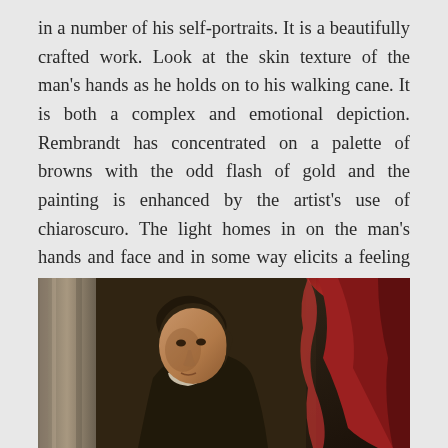in a number of his self-portraits. It is a beautifully crafted work. Look at the skin texture of the man's hands as he holds on to his walking cane. It is both a complex and emotional depiction. Rembrandt has concentrated on a palette of browns with the odd flash of gold and the painting is enhanced by the artist's use of chiaroscuro. The light homes in on the man's hands and face and in some way elicits a feeling of tragedy – the tragedy of ageing.
[Figure (photo): A classical oil painting portrait of a man in historical dress, shown from roughly the shoulders up. The painting features a column in the background on the left, dramatic red drapery on the right, and a cloudy sky. The man has dark hair and is looking slightly to one side. Rich warm tones typical of Old Master paintings.]